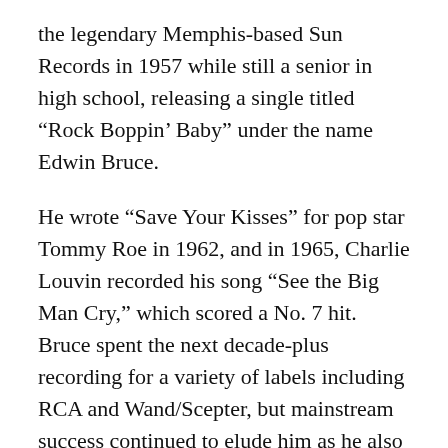the legendary Memphis-based Sun Records in 1957 while still a senior in high school, releasing a single titled "Rock Boppin' Baby" under the name Edwin Bruce.
He wrote "Save Your Kisses" for pop star Tommy Roe in 1962, and in 1965, Charlie Louvin recorded his song "See the Big Man Cry," which scored a No. 7 hit. Bruce spent the next decade-plus recording for a variety of labels including RCA and Wand/Scepter, but mainstream success continued to elude him as he also began to do voiceover work. He scored his first chart single in 1967 with "Walker's Woods," and also scored small successes with "Everybody Wants to Get to Heaven" and "Song for Jenny" after signing with Monument in 1969.
The...